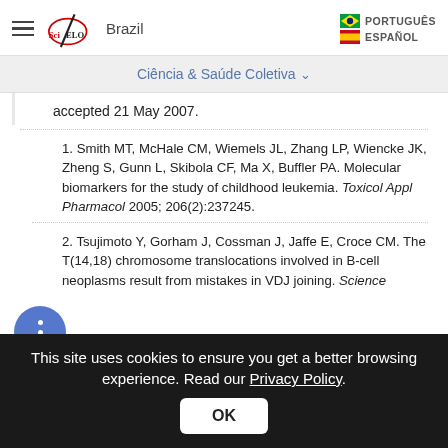SciELO Brazil — PORTUGUÊS ESPAÑOL
Ciência & Saúde Coletiva
accepted 21 May 2007.
1. Smith MT, McHale CM, Wiemels JL, Zhang LP, Wiencke JK, Zheng S, Gunn L, Skibola CF, Ma X, Buffler PA. Molecular biomarkers for the study of childhood leukemia. Toxicol Appl Pharmacol 2005; 206(2):237245.
2. Tsujimoto Y, Gorham J, Cossman J, Jaffe E, Croce CM. The T(14,18) chromosome translocations involved in B-cell neoplasms result from mistakes in VDJ joining. Science
This site uses cookies to ensure you get a better browsing experience. Read our Privacy Policy. OK